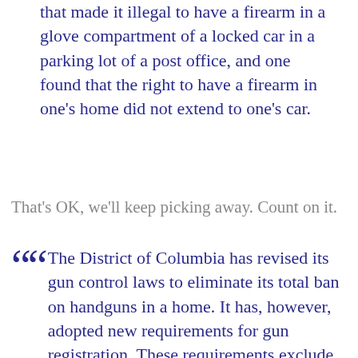that made it illegal to have a firearm in a glove compartment of a locked car in a parking lot of a post office, and one found that the right to have a firearm in one's home did not extend to one's car.
That's OK, we'll keep picking away. Count on it.
The District of Columbia has revised its gun control laws to eliminate its total ban on handguns in a home. It has, however, adopted new requirements for gun registration. These requirements exclude from gun ownership anyone convicted of a crime of violence or any weapons offense